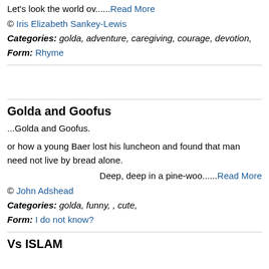Let's look the world ov......Read More
© Iris Elizabeth Sankey-Lewis
Categories: golda, adventure, caregiving, courage, devotion,
Form: Rhyme
Golda and Goofus
...Golda and Goofus.
or how a young Baer lost his luncheon and found that man need not live by bread alone.
Deep, deep in a pine-woo......Read More
© John Adshead
Categories: golda, funny, , cute,
Form: I do not know?
Vs ISLAM